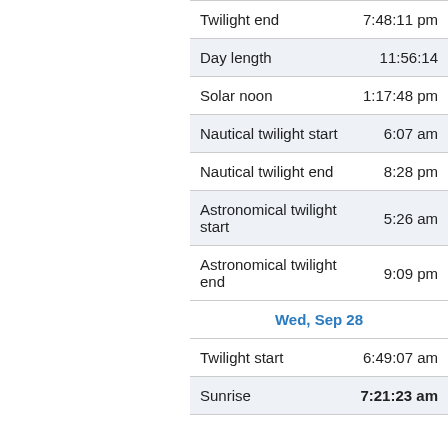| Event | Time |
| --- | --- |
| Twilight end | 7:48:11 pm |
| Day length | 11:56:14 |
| Solar noon | 1:17:48 pm |
| Nautical twilight start | 6:07 am |
| Nautical twilight end | 8:28 pm |
| Astronomical twilight start | 5:26 am |
| Astronomical twilight end | 9:09 pm |
| Wed, Sep 28 |  |
| Twilight start | 6:49:07 am |
| Sunrise | 7:21:23 am |